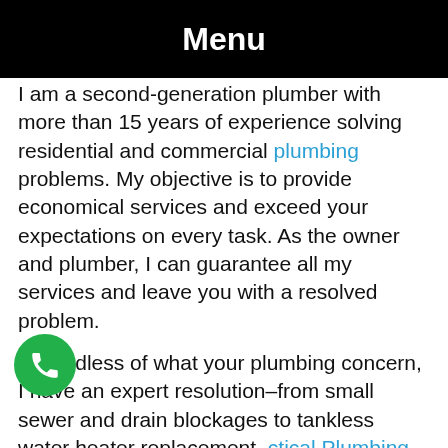Menu
I am a second-generation plumber with more than 15 years of experience solving residential and commercial plumbing problems. My objective is to provide economical services and exceed your expectations on every task. As the owner and plumber, I can guarantee all my services and leave you with a resolved problem.
Regardless of what your plumbing concern, I have an expert resolution–from small sewer and drain blockages to tankless water heater replacement, ctical Plumbing LLC is the ideal choice for you.